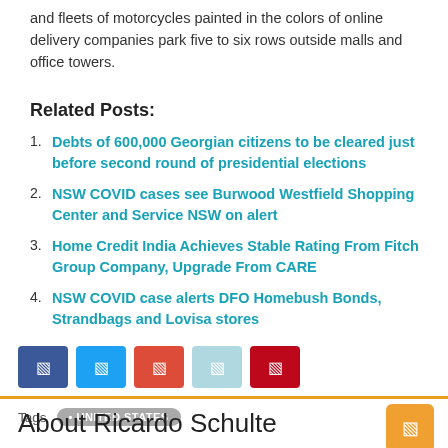and fleets of motorcycles painted in the colors of online delivery companies park five to six rows outside malls and office towers.
Related Posts:
Debts of 600,000 Georgian citizens to be cleared just before second round of presidential elections
NSW COVID cases see Burwood Westfield Shopping Center and Service NSW on alert
Home Credit India Achieves Stable Rating From Fitch Group Company, Upgrade From CARE
NSW COVID case alerts DFO Homebush Bonds, Strandbags and Lovisa stores
Tags  UNITED STATES
About Ricardo Schulte